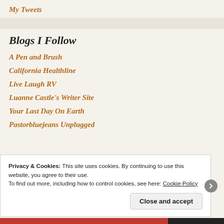My Tweets
Blogs I Follow
A Pen and Brush
California Healthline
Live Laugh RV
Luanne Castle's Writer Site
Your Last Day On Earth
Pastorbluejeans Unplugged
Privacy & Cookies: This site uses cookies. By continuing to use this website, you agree to their use.
To find out more, including how to control cookies, see here: Cookie Policy
Close and accept